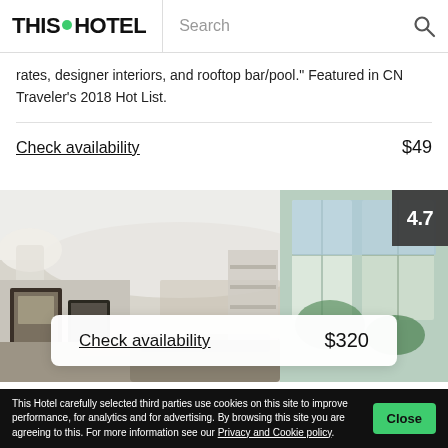THIS HOTEL | Search
rates, designer interiors, and rooftop bar/pool." Featured in CN Traveler's 2018 Hot List.
Check availability   $49
[Figure (photo): Hotel room interior with modern decor, bright lighting, large windows. Rating badge showing 4.7. Check availability card overlay showing $320.]
Check availability   $320
This Hotel carefully selected third parties use cookies on this site to improve performance, for analytics and for advertising. By browsing this site you are agreeing to this. For more information see our Privacy and Cookie policy.